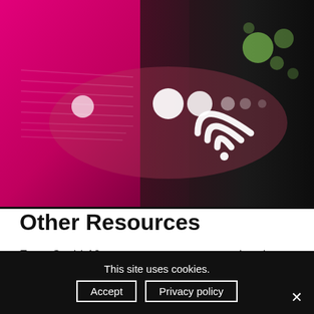[Figure (photo): A hand pointing at or touching a music sheet illuminated in pink/magenta light, with bokeh circles (white and green) and a wifi icon overlay in the background.]
Other Resources
From Covid-19 resources to resources aimed at campaigners, educators and young composers, we
This site uses cookies.
Accept   Privacy policy